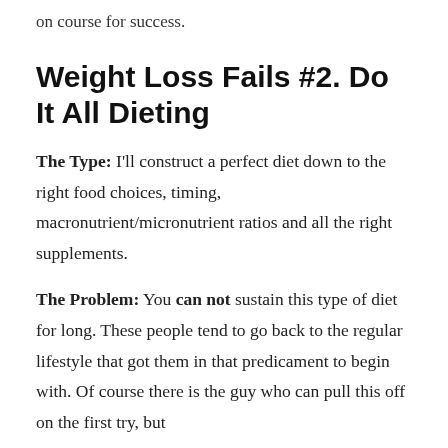on course for success.
Weight Loss Fails #2. Do It All Dieting
The Type: I'll construct a perfect diet down to the right food choices, timing, macronutrient/micronutrient ratios and all the right supplements.
The Problem: You can not sustain this type of diet for long. These people tend to go back to the regular lifestyle that got them in that predicament to begin with. Of course there is the guy who can pull this off on the first try, but